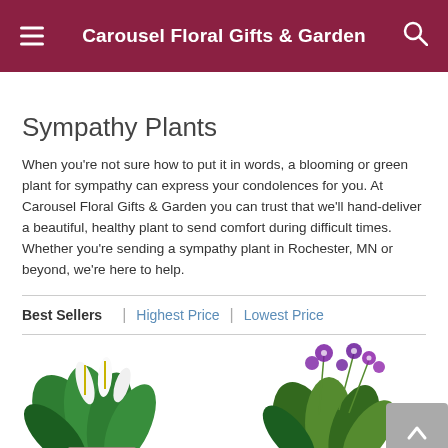Carousel Floral Gifts & Garden
Sympathy Plants
When you're not sure how to put it in words, a blooming or green plant for sympathy can express your condolences for you. At Carousel Floral Gifts & Garden you can trust that we'll hand-deliver a beautiful, healthy plant to send comfort during difficult times. Whether you're sending a sympathy plant in Rochester, MN or beyond, we're here to help.
Best Sellers | Highest Price | Lowest Price
[Figure (photo): Two plant product images side by side: left shows a white peace lily plant, right shows a purple orchid/dendrobium arrangement with green foliage]